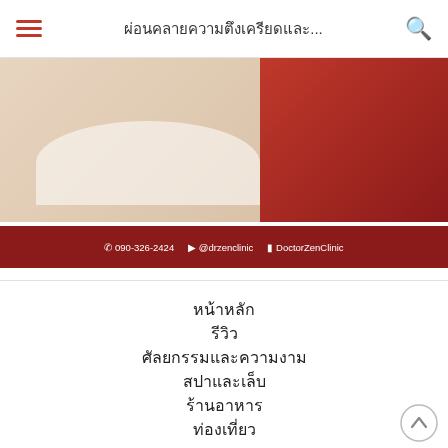ผ่อนคลายความตึงเครียดและ...
[Figure (photo): Banner image of a woman in red top with clinic contact info bar at bottom: 090-326-2424, @drzenclinic, DoctorZenClinic]
หน้าหลัก
รีวิว
ศัลยกรรมและความงาม
สปาและเล็บ
ร้านอาหาร
ท่องเที่ยว
แต่งหน้า
แฟชั่น
สุขภาพ
ข่าว